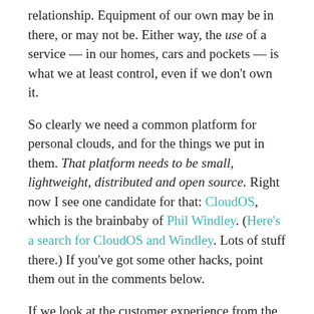relationship. Equipment of our own may be in there, or may not be. Either way, the use of a service — in our homes, cars and pockets — is what we at least control, even if we don't own it.
So clearly we need a common platform for personal clouds, and for the things we put in them. That platform needs to be small, lightweight, distributed and open source. Right now I see one candidate for that: CloudOS, which is the brainbaby of Phil Windley. (Here's a search for CloudOS and Windley. Lots of stuff there.) If you've got some other hacks, point them out in the comments below.
If we look at the customer experience from the company's side again, this graphic from Joe Pine and Jim Gilmore does a nice job of framing the possibilities: